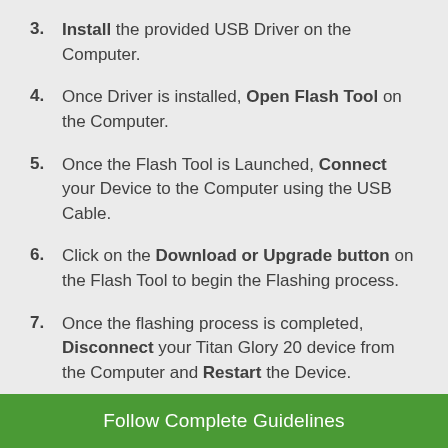3. Install the provided USB Driver on the Computer.
4. Once Driver is installed, Open Flash Tool on the Computer.
5. Once the Flash Tool is Launched, Connect your Device to the Computer using the USB Cable.
6. Click on the Download or Upgrade button on the Flash Tool to begin the Flashing process.
7. Once the flashing process is completed, Disconnect your Titan Glory 20 device from the Computer and Restart the Device.
Follow Complete Guidelines